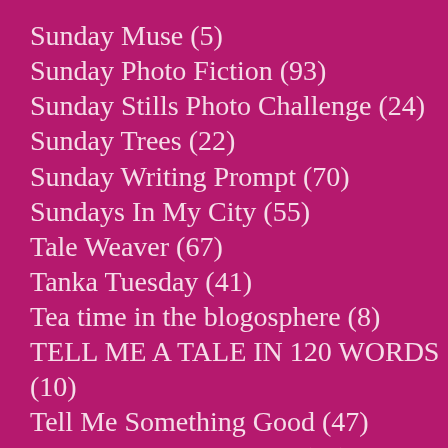Sunday Muse (5)
Sunday Photo Fiction (93)
Sunday Stills Photo Challenge (24)
Sunday Trees (22)
Sunday Writing Prompt (70)
Sundays In My City (55)
Tale Weaver (67)
Tanka Tuesday (41)
Tea time in the blogosphere (8)
TELL ME A TALE IN 120 WORDS (10)
Tell Me Something Good (47)
Ten Things of Thankful (31)
Thank God, It's Monday (9)